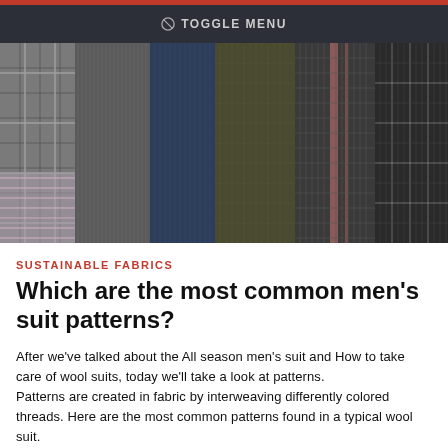⊘ TOGGLE MENU
[Figure (photo): Multiple rolls of wool fabric in various patterns and colors including grey plaid, dark navy, olive, charcoal and houndstooth, arranged upright side by side]
SUSTAINABLE FABRICS
Which are the most common men's suit patterns?
After we've talked about the All season men's suit and How to take care of wool suits, today we'll take a look at patterns.
Patterns are created in fabric by interweaving differently colored threads. Here are the most common patterns found in a typical wool suit.